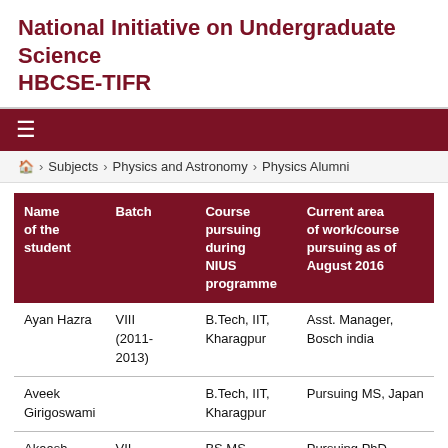National Initiative on Undergraduate Science HBCSE-TIFR
≡
🏠 › Subjects › Physics and Astronomy › Physics Alumni
| Name of the student | Batch | Course pursuing during NIUS programme | Current area of work/course pursuing as of August 2016 |
| --- | --- | --- | --- |
| Ayan Hazra | VIII (2011-2013) | B.Tech, IIT, Kharagpur | Asst. Manager, Bosch india |
| Aveek Girigoswami |  | B.Tech, IIT, Kharagpur | Pursuing MS, Japan |
| Akaash | VII | BS MS, IISER | Pursuing PhD, NIUS |